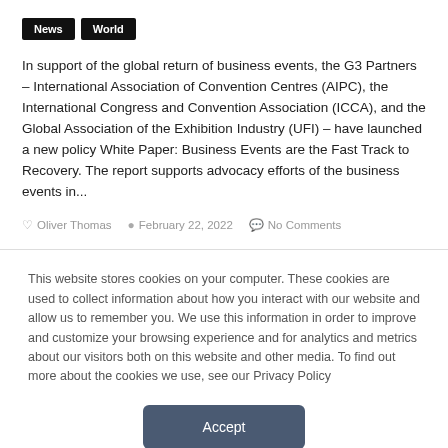News   World
In support of the global return of business events, the G3 Partners – International Association of Convention Centres (AIPC), the International Congress and Convention Association (ICCA), and the Global Association of the Exhibition Industry (UFI) – have launched a new policy White Paper: Business Events are the Fast Track to Recovery. The report supports advocacy efforts of the business events in...
Oliver Thomas   February 22, 2022   No Comments
This website stores cookies on your computer. These cookies are used to collect information about how you interact with our website and allow us to remember you. We use this information in order to improve and customize your browsing experience and for analytics and metrics about our visitors both on this website and other media. To find out more about the cookies we use, see our Privacy Policy